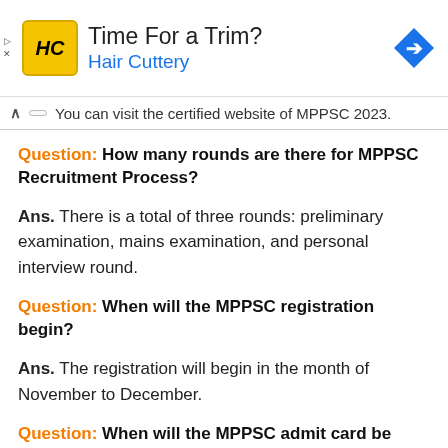[Figure (other): Hair Cuttery advertisement banner with logo, 'Time For a Trim?' text, and navigation arrow icon]
You can visit the certified website of MPPSC 2023.
Question: How many rounds are there for MPPSC Recruitment Process?
Ans. There is a total of three rounds: preliminary examination, mains examination, and personal interview round.
Question: When will the MPPSC registration begin?
Ans. The registration will begin in the month of November to December.
Question: When will the MPPSC admit card be out?